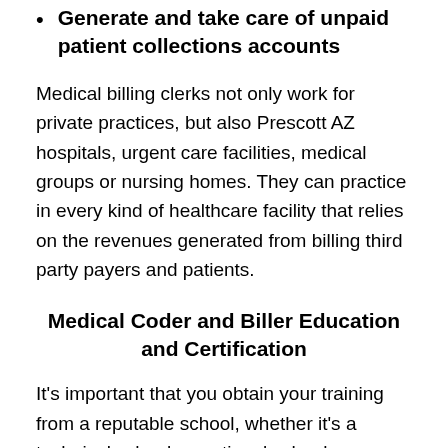Generate and take care of unpaid patient collections accounts
Medical billing clerks not only work for private practices, but also Prescott AZ hospitals, urgent care facilities, medical groups or nursing homes. They can practice in every kind of healthcare facility that relies on the revenues generated from billing third party payers and patients.
Medical Coder and Biller Education and Certification
It's important that you obtain your training from a reputable school, whether it's a technical school, vocational school or community college. Even though it is not required in most cases to earn a professional certification, the program you enroll in should be accredited (more on the benefits of accreditation later). The majority of programs simply require